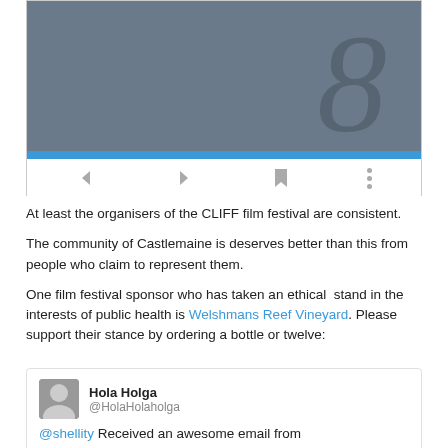[Figure (screenshot): Mobile app screenshot showing a dark gray image area with a blue progress bar and navigation controls (back arrow, forward arrow, bookmark icon, three-dot menu) on a white background.]
At least the organisers of the CLIFF film festival are consistent.
The community of Castlemaine is deserves better than this from people who claim to represent them.
One film festival sponsor who has taken an ethical  stand in the interests of public health is Welshmans Reef Vineyard. Please support their stance by ordering a bottle or twelve:
[Figure (screenshot): Embedded tweet from Hola Holga (@HolaHolaholga) with text beginning '@shellity Received an awesome email from']